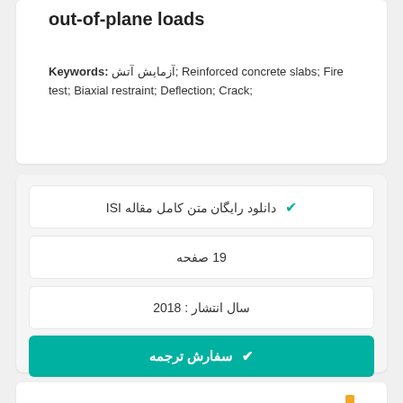out-of-plane loads
Keywords: آزمایش آتش; Reinforced concrete slabs; Fire test; Biaxial restraint; Deflection; Crack;
✔ دانلود رایگان متن کامل مقاله ISI
19 صفحه
سال انتشار : 2018
✔ سفارش ترجمه